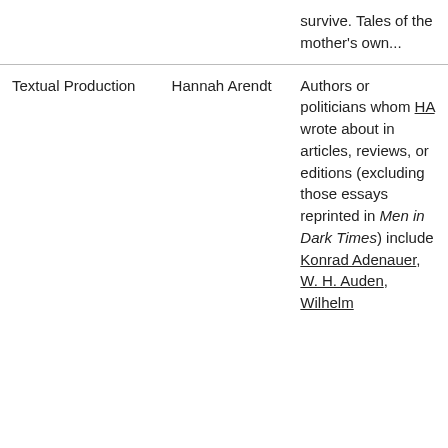|  |  | survive. Tales of the mother's own... |
| Textual Production | Hannah Arendt | Authors or politicians whom HA wrote about in articles, reviews, or editions (excluding those essays reprinted in Men in Dark Times) include Konrad Adenauer, W. H. Auden, Wilhelm |